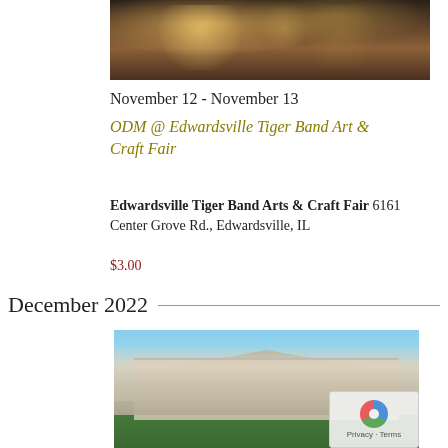[Figure (photo): Craft fair photo showing tables with holiday decorations, ornaments, and crafts with people browsing]
November 12 - November 13
ODM @ Edwardsville Tiger Band Art & Craft Fair
Edwardsville Tiger Band Arts & Craft Fair 6161 Center Grove Rd., Edwardsville, IL
$3.00
December 2022
Thu 1
[Figure (photo): Sunset Country Club building exterior photo showing a large white clubhouse with columns and landscaping]